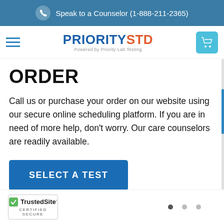Speak to a Counselor (1-888-211-2365)
[Figure (logo): PrioritySTD logo with hamburger menu and cart icon]
ORDER
Call us or purchase your order on our website using our secure online scheduling platform. If you are in need of more help, don't worry. Our care counselors are readily available.
[Figure (other): SELECT A TEST button]
TrustedSite CERTIFIED SECURE